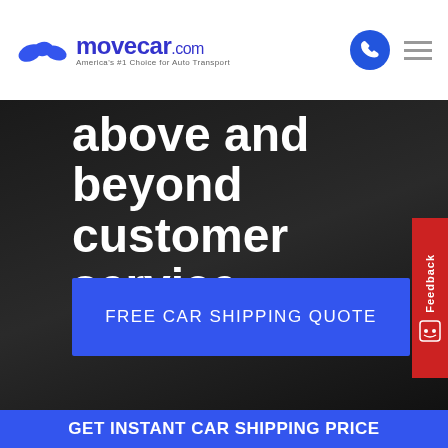[Figure (logo): MoveCar.com logo with blue swoosh car icons and tagline 'America's #1 Choice for Auto Transport']
above and beyond customer service.
FREE CAR SHIPPING QUOTE
Feedback
LEGALS
GET INSTANT CAR SHIPPING PRICE